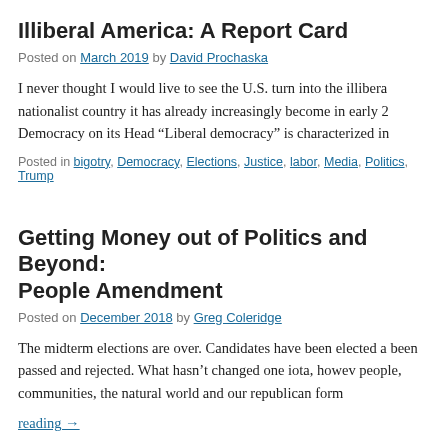Illiberal America: A Report Card
Posted on March 2019 by David Prochaska
I never thought I would live to see the U.S. turn into the illibera nationalist country it has already increasingly become in early 2 Democracy on its Head “Liberal democracy” is characterized in
Posted in bigotry, Democracy, Elections, Justice, labor, Media, Politics, Trump
Getting Money out of Politics and Beyond: People Amendment
Posted on December 2018 by Greg Coleridge
The midterm elections are over. Candidates have been elected a been passed and rejected. What hasn’t changed one iota, howev people, communities, the natural world and our republican form
reading →